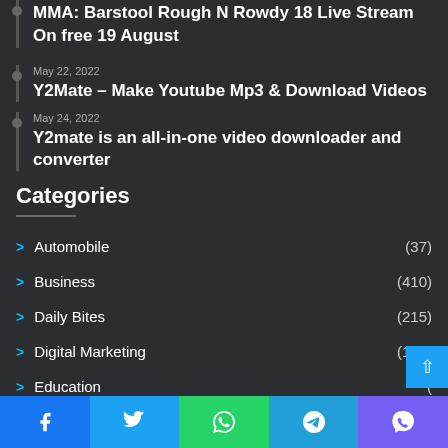MMA: Barstool Rough N Rowdy 18 Live Stream On free 19 August
May 22, 2022
Y2Mate – Make Youtube Mp3 & Download Videos
May 24, 2022
Y2mate is an all-in-one video downloader and converter
Categories
Automobile (37)
Business (410)
Daily Bites (215)
Digital Marketing (101)
Education
Law (17)
Facebook | Twitter | WhatsApp | Telegram | Viber